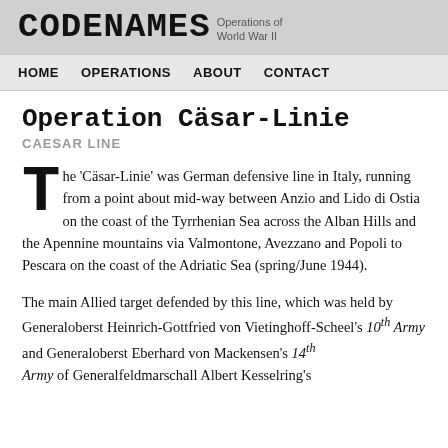CODENAMES Operations of World War II
HOME  OPERATIONS  ABOUT  CONTACT
Operation Cäsar-Linie
CAESAR LINE
The 'Cäsar-Linie' was German defensive line in Italy, running from a point about mid-way between Anzio and Lido di Ostia on the coast of the Tyrrhenian Sea across the Alban Hills and the Apennine mountains via Valmontone, Avezzano and Popoli to Pescara on the coast of the Adriatic Sea (spring/June 1944).
The main Allied target defended by this line, which was held by Generaloberst Heinrich-Gottfried von Vietinghoff-Scheel's 10th Army and Generaloberst Eberhard von Mackensen's 14th Army of Generalfeldmarschall Albert Kesselring's